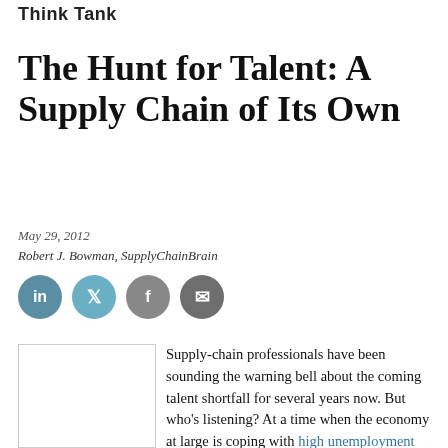Think Tank
The Hunt for Talent: A Supply Chain of Its Own
May 29, 2012
Robert J. Bowman, SupplyChainBrain
[Figure (infographic): Social sharing icons: LinkedIn, Twitter, Facebook, Email]
[Figure (photo): Small image placeholder with border]
Supply-chain professionals have been sounding the warning bell about the coming talent shortfall for several years now. But who's listening? At a time when the economy at large is coping with high unemployment